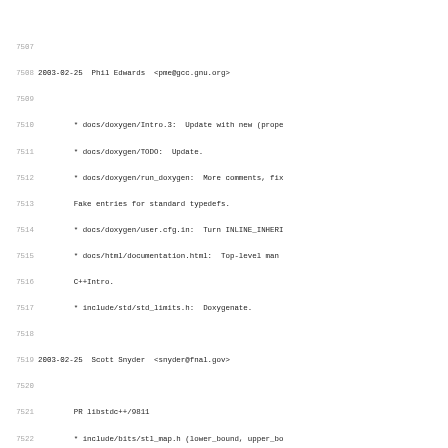7507
7508 2003-02-25  Phil Edwards  <pme@gcc.gnu.org>
7509
7510        * docs/doxygen/Intro.3:  Update with new (prope
7511        * docs/doxygen/TODO:  Update.
7512        * docs/doxygen/run_doxygen:  More comments, fix
7513        Fake entries for standard typedefs.
7514        * docs/doxygen/user.cfg.in:  Turn INLINE_INHERI
7515        * docs/html/documentation.html:  Top-level man
7516        C++Intro.
7517        * include/std/std_limits.h:  Doxygenate.
7518
7519 2003-02-25  Scott Snyder  <snyder@fnal.gov>
7520
7521        PR libstdc++/9811
7522        * include/bits/stl_map.h (lower_bound, upper_bo
7523        Correct documentation.
7524        * include/bits/stl_multimap.h (lower_bound, upp
7525        equal_range): Likewise.
7526
7527 2003-02-24  Paolo Carlini  <pcarlini@unitus.it>
7528
7529        PR libstdc++/9825
7530        * src/fstream.cc
7531        (basic_filebuf<char/wchar_t>::_M_underflow_comm
7532        __bump is true (uflow), always increment the re
7533        (_M_in_cur) before returning successfully.
7534        * testsuite/27_io/filebuf_virtuals.cc (test12):
7535
7536 2003-02-24  Paolo Carlini  <pcarlini@unitus.it>
7537             Nathan Myers  <ncm@cantrip.org>
7538